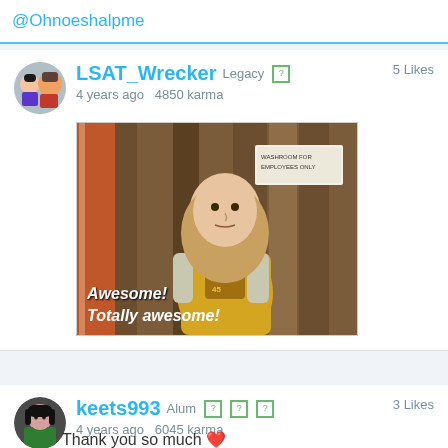@Ohnoeshalpme
LSAT_Wrecker Legacy  5 Likes
4 years ago  4850 karma
[Figure (photo): GIF of a long-haired person in a yellow Colt 45 t-shirt standing near a wooden wall with a 'Washroom for Employees Only' sign. Caption reads 'Awesome! Totally awesome!']
keets993 Alum  3 Likes
4 years ago  6045 karma
Thank you so much